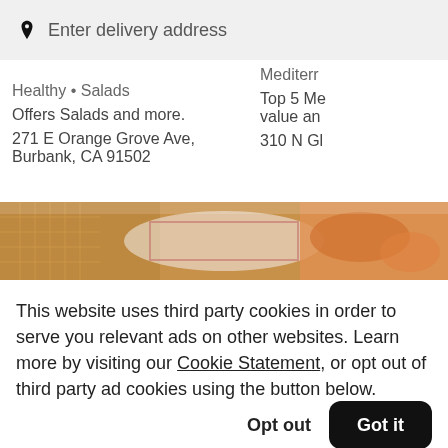Enter delivery address
Healthy • Salads
Offers Salads and more.
271 E Orange Grove Ave, Burbank, CA 91502
Mediterr
Top 5 Me value an
310 N Gl
[Figure (photo): Food photo strip showing waffles, pastries, and orange dishes]
This website uses third party cookies in order to serve you relevant ads on other websites. Learn more by visiting our Cookie Statement, or opt out of third party ad cookies using the button below.
Opt out
Got it